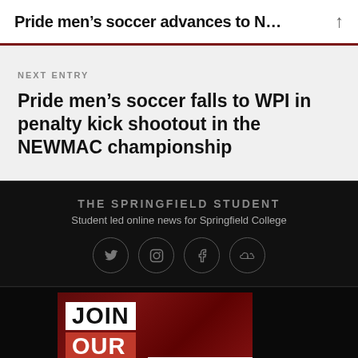Pride men’s soccer advances to N…
NEXT ENTRY
Pride men’s soccer falls to WPI in penalty kick shootout in the NEWMAC championship
THE SPRINGFIELD STUDENT
Student led online news for Springfield College
[Figure (infographic): JOIN OUR recruitment graphic with red photo collage background and a white contact box in the bottom right with email and website info for Springfield Student]
CONTACT: springfieldstudent@springfieldcollege.edu